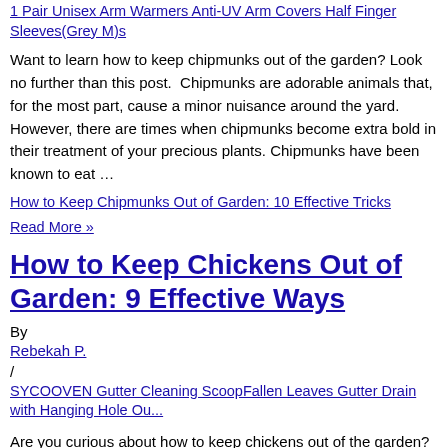1 Pair Unisex Arm Warmers Anti-UV Arm Covers Half Finger Sleeves(Grey M)s
Want to learn how to keep chipmunks out of the garden? Look no further than this post. Chipmunks are adorable animals that, for the most part, cause a minor nuisance around the yard. However, there are times when chipmunks become extra bold in their treatment of your precious plants. Chipmunks have been known to eat …
How to Keep Chipmunks Out of Garden: 10 Effective Tricks Read More »
How to Keep Chickens Out of Garden: 9 Effective Ways
By
Rebekah P.
/
SYCOOVEN Gutter Cleaning ScoopFallen Leaves Gutter Drain with Hanging Hole Ou...
Are you curious about how to keep chickens out of the garden? Look no further – this post is your ultimate guide. Chickens are perfect backyard animals. Whether you are keeping them as...